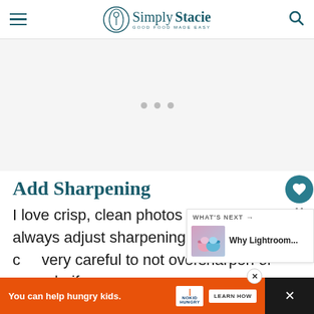Simply Stacie — GOOD FOOD MADE EASY
[Figure (other): Advertisement placeholder area with three dots]
Add Sharpening
I love crisp, clean photos so I usually always adjust sharpening (and sometimes c… very careful to not oversharpen or over clarify or you…